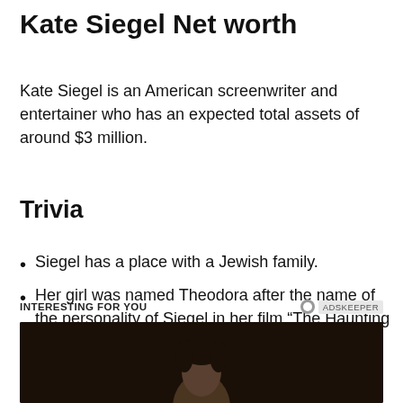Kate Siegel Net worth
Kate Siegel is an American screenwriter and entertainer who has an expected total assets of around $3 million.
Trivia
Siegel has a place with a Jewish family.
Her girl was named Theodora after the name of the personality of Siegel in her film “The Haunting of Hill House”.
INTERESTING FOR YOU
[Figure (photo): Dark background photo showing a person's face/head from below, partially visible at the bottom of the page.]